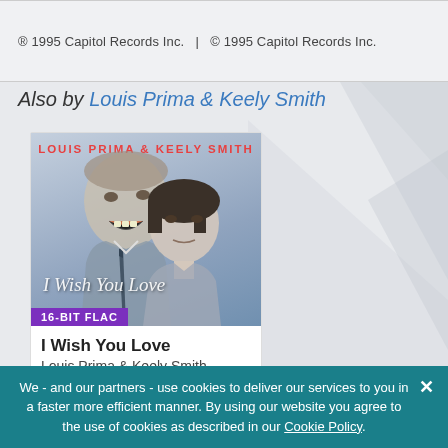® 1995 Capitol Records Inc.  |  © 1995 Capitol Records Inc.
Also by Louis Prima & Keely Smith
[Figure (illustration): Album cover for 'I Wish You Love' by Louis Prima & Keely Smith. Shows illustrated portraits of two people — a man with his mouth open and a woman with a serious expression. Title 'I Wish You Love' in cursive script. '16-BIT FLAC' badge in purple at bottom left. 'LOUIS PRIMA & KEELY SMITH' in red text at top.]
I Wish You Love
Louis Prima & Keely Smith
We - and our partners - use cookies to deliver our services to you in a faster more efficient manner. By using our website you agree to the use of cookies as described in our Cookie Policy.